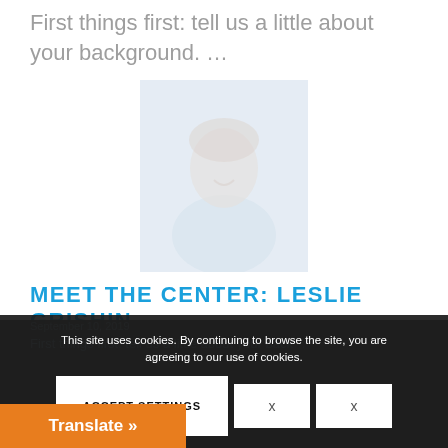First things first: tell us a little about your background. …
[Figure (photo): Faded/washed-out portrait photo of a person (Leslie Grishin) smiling, seated indoors]
MEET THE CENTER: LESLIE GRISHIN
This site uses cookies. By continuing to browse the site, you are agreeing to our use of cookies.
ACCEPT SETTINGS
×
×
Translate »